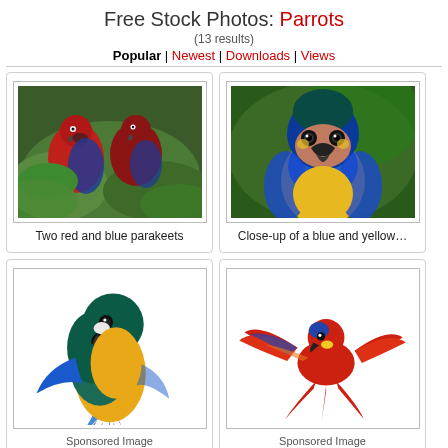Free Stock Photos: Parrots
(13 results)
Popular | Newest | Downloads | Views
[Figure (photo): Two red and blue parakeets perched on green leaves]
Two red and blue parakeets
[Figure (photo): Close-up of a blue and yellow macaw parrot]
Close-up of a blue and yellow…
[Figure (photo): Blue and yellow macaw parrot standing on white background - Sponsored Image From Shutterstock]
Sponsored Image
From Shutterstock
[Figure (photo): Red and blue macaw parrot flying on white background - Sponsored Image From Shutterstock]
Sponsored Image
From Shutterstock